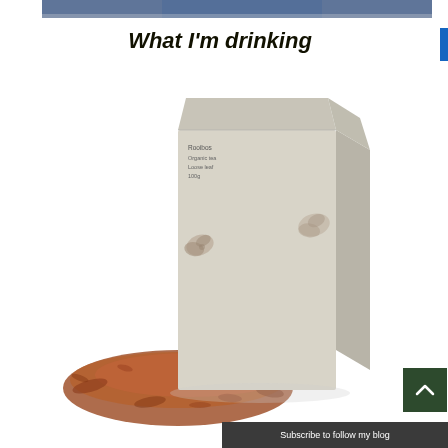[Figure (photo): Partial top image showing a person in blue jeans — cropped at top of page]
What I'm drinking
[Figure (photo): A grey cardboard box of Rooibos Organic Tea Loose Leaf 100g with descriptive text on front, and a loose pile of rooibos tea leaves spread in front of the box]
Subscribe to follow my blog